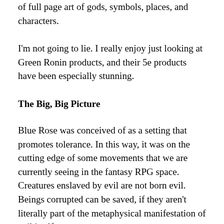of full page art of gods, symbols, places, and characters.
I'm not going to lie. I really enjoy just looking at Green Ronin products, and their 5e products have been especially stunning.
The Big, Big Picture
Blue Rose was conceived of as a setting that promotes tolerance. In this way, it was on the cutting edge of some movements that we are currently seeing in the fantasy RPG space. Creatures enslaved by evil are not born evil. Beings corrupted can be saved, if they aren't literally part of the metaphysical manifestation of evil itself.
Another aspect of this is that the setting assumes that this is more black or more out of the action, adults